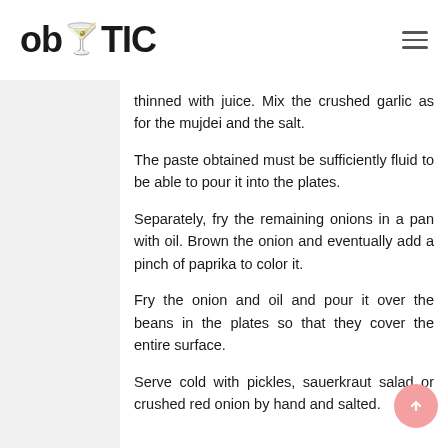ob 🍸 TIC
thinned with juice. Mix the crushed garlic as for the mujdei and the salt.
The paste obtained must be sufficiently fluid to be able to pour it into the plates.
Separately, fry the remaining onions in a pan with oil. Brown the onion and eventually add a pinch of paprika to color it.
Fry the onion and oil and pour it over the beans in the plates so that they cover the entire surface.
Serve cold with pickles, sauerkraut salad or crushed red onion by hand and salted.